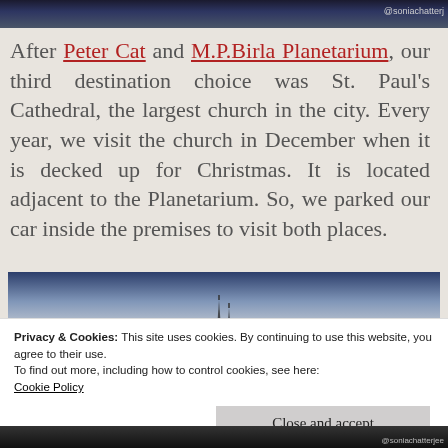[Figure (photo): Top portion of a dark photo with watermark @soniachatterj]
After Peter Cat and M.P.Birla Planetarium, our third destination choice was St. Paul's Cathedral, the largest church in the city. Every year, we visit the church in December when it is decked up for Christmas. It is located adjacent to the Planetarium. So, we parked our car inside the premises to visit both places.
[Figure (photo): Photo of church spires against a pale sky]
Privacy & Cookies: This site uses cookies. By continuing to use this website, you agree to their use.
To find out more, including how to control cookies, see here:
Cookie Policy
Close and accept
[Figure (photo): Bottom strip of a dark photo with watermark @soniachatterjee]